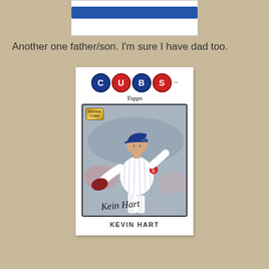[Figure (photo): Top portion of a baseball card (partially visible) with a blue banner at top]
Another one father/son. I'm sure I have dad too.
[Figure (photo): Topps baseball card for Kevin Hart (Chicago Cubs pitcher), showing player in Cubs pinstripe uniform in pitching stance with glove, with autograph signature, CUBS logo with colored circles at top, Topps logo, Rookie Card badge, and KEVIN HART name at bottom]